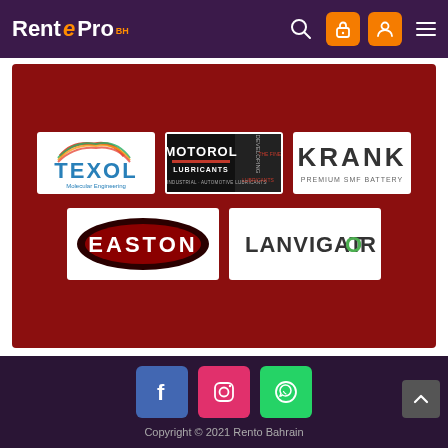Rent e Pro BH — navigation header with search, lock, user, and menu icons
[Figure (logo): Brand logos on red banner: TEXOL, MOTOROL LUBRICANTS, KRANK (top row); EASTON, LANVIGATOR (bottom row)]
Copyright © 2021 Rento Bahrain